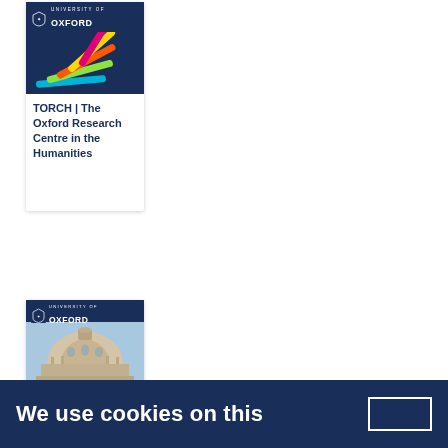[Figure (logo): TORCH - The Oxford Research Centre in the Humanities logo card with University of Oxford branding and coloured rays on dark blue background]
TORCH | The Oxford Research Centre in the Humanities
[Figure (photo): University of Oxford card with photo of Radcliffe Camera building dome]
Oxford
We use cookies on this